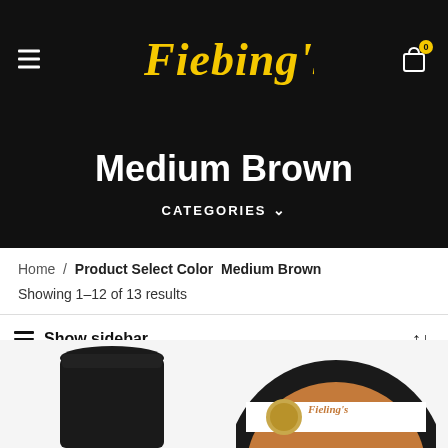[Figure (logo): Fiebing's brand logo in yellow italic script on black background]
Medium Brown
CATEGORIES ∨
Home / Product Select Color  Medium Brown
Showing 1–12 of 13 results
Show sidebar
[Figure (photo): Dark jar product photo (left) and Fiebing's round tin product photo (right)]